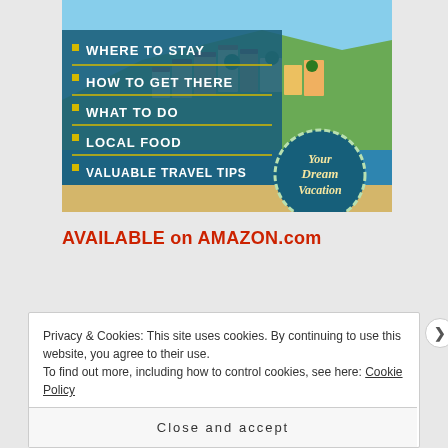[Figure (illustration): Travel guide book cover showing a coastal Italian town (Positano) with colorful buildings on cliffs above blue water. The cover lists: WHERE TO STAY, HOW TO GET THERE, WHAT TO DO, LOCAL FOOD, VALUABLE TRAVEL TIPS, and a badge reading 'Your Dream Vacation'.]
AVAILABLE on AMAZON.com
Privacy & Cookies: This site uses cookies. By continuing to use this website, you agree to their use.
To find out more, including how to control cookies, see here: Cookie Policy
Close and accept